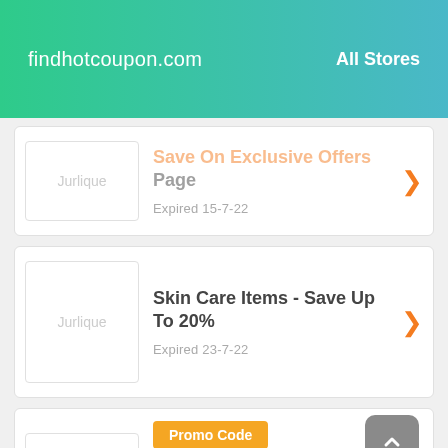findhotcoupon.com   All Stores
Save On Exclusive Offers Page — Expired 15-7-22
Skin Care Items - Save Up To 20% — Expired 23-7-22
Promo Code — 15% Off Selected Goods — Expired 12-8-22